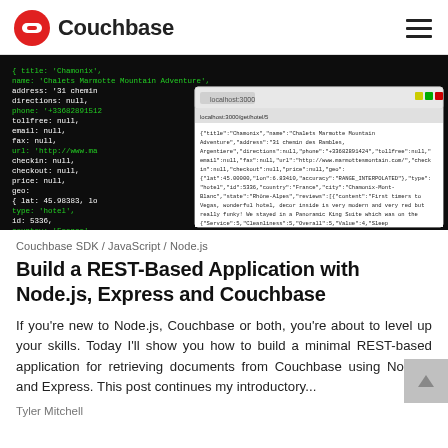Couchbase
[Figure (screenshot): Screenshot of a Couchbase document in terminal/code view alongside a browser window showing JSON data for a hotel listing in Chamonix, France.]
Couchbase SDK / JavaScript / Node.js
Build a REST-Based Application with Node.js, Express and Couchbase
If you're new to Node.js, Couchbase or both, you're about to level up your skills. Today I'll show you how to build a minimal REST-based application for retrieving documents from Couchbase using Node.js and Express. This post continues my introductory...
Tyler Mitchell